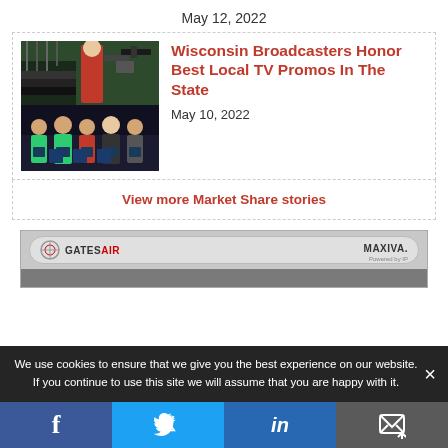May 12, 2022
[Figure (photo): Two-panel collage: top panel shows a person in red dress near steps with a camera operator, bottom panel shows a group of people holding award plaques in a dark venue.]
Wisconsin Broadcasters Honor Best Local TV Promos In The State
May 10, 2022
View more Market Share stories
[Figure (photo): GatesAir advertisement banner showing GATESAIR and MAXIVA logos on a light grey background with a dark equipment strip at the bottom.]
We use cookies to ensure that we give you the best experience on our website. If you continue to use this site we will assume that you are happy with it.
Facebook  Twitter  LinkedIn  Email share